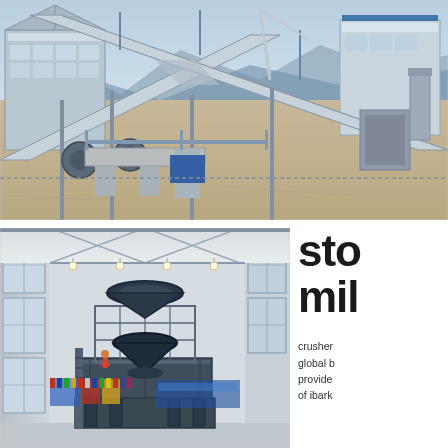[Figure (photo): Aerial view of a large industrial mining/crushing facility with steel conveyor belt structures crossing in an X-pattern, multiple buildings, scaffolding, and machinery on a dry terrain with mountains in the background.]
[Figure (photo): Interior of a large industrial exhibition hall with high steel roof structure, ceiling lights, and a large cone crusher machine on a multi-level steel platform in the center. International flags and banners visible in the background.]
sto
mil

crusher
global b
provide
of ibark